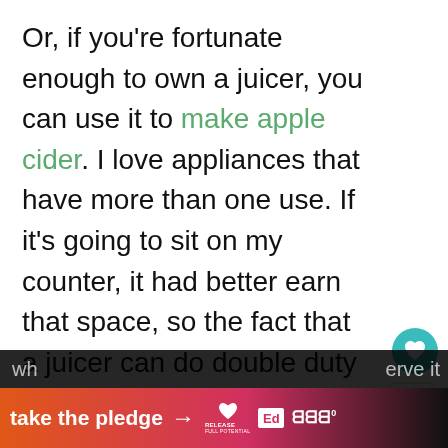Or, if you're fortunate enough to own a juicer, you can use it to make apple cider. I love appliances that have more than one use. If it's going to sit on my counter, it had better earn that space, so the fact that a juicer can do double duty is a good thing.
Making apple cider isn't a form of preservation though, and cider begins to ferment very quickly; in as little as one...
[Figure (screenshot): UI overlay elements: heart/save button (teal circle), share button, 'WHAT'S NEXT' box with carrot image and 'How to Preserve...' text, hamburger menu button]
[Figure (screenshot): Bottom banner ad: 'take the pledge →' text with RELEASE logo, Ed badge, and WM logo on dark gradient background]